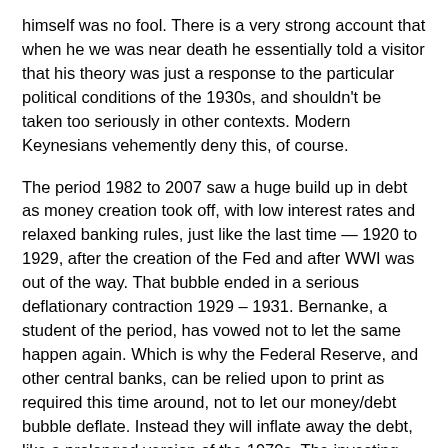himself was no fool. There is a very strong account that when he we was near death he essentially told a visitor that his theory was just a response to the particular political conditions of the 1930s, and shouldn't be taken too seriously in other contexts. Modern Keynesians vehemently deny this, of course.
The period 1982 to 2007 saw a huge build up in debt as money creation took off, with low interest rates and relaxed banking rules, just like the last time — 1920 to 1929, after the creation of the Fed and after WWI was out of the way. That bubble ended in a serious deflationary contraction 1929 – 1931. Bernanke, a student of the period, has vowed not to let the same happen again. Which is why the Federal Reserve, and other central banks, can be relied upon to print as required this time around, not to let our money/debt bubble deflate. Instead they will inflate away the debt, like a prolonged version of the 1970s. The investing world is only starting to work this out. Like Wenzel (and Murdoch) have been saying, there is a great deal of inflation dead ahead. Are your investments ready for that? See, these arcane arguments can really matter!